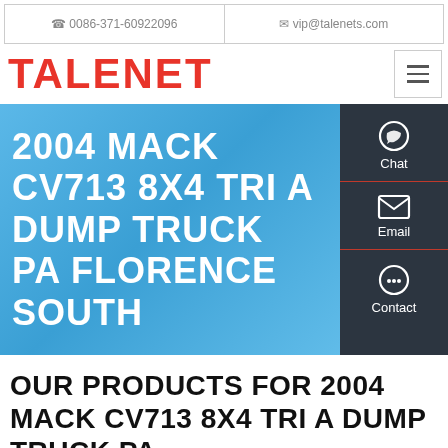☎ 0086-371-60922096   ✉ vip@talenets.com
TALENET
[Figure (screenshot): Hero banner with blue gradient background showing text: 2004 MACK CV713 8X4 TRI A DUMP TRUCK PA FLORENCE SOUTH, with a dark side panel showing Chat, Email, and Contact buttons]
OUR PRODUCTS FOR 2004 MACK CV713 8X4 TRI A DUMP TRUCK PA